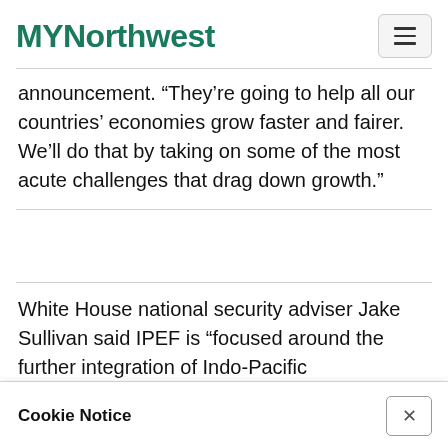MYNorthwest
announcement. “They’re going to help all our countries’ economies grow faster and fairer. We’ll do that by taking on some of the most acute challenges that drag down growth.”
White House national security adviser Jake Sullivan said IPEF is “focused around the further integration of Indo-Pacific
Cookie Notice